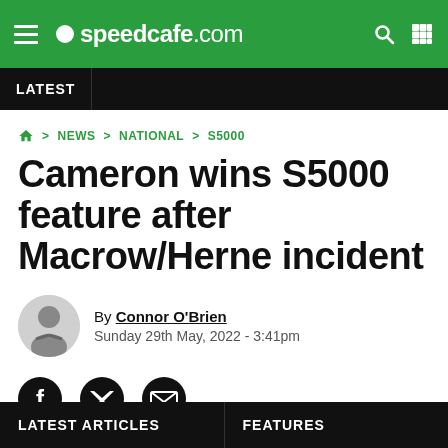speedcafe.com
LATEST
🏠 > NEWS > NATIONAL > S5000
Cameron wins S5000 feature after Macrow/Herne incident
By Connor O'Brien
Sunday 29th May, 2022 - 3:41pm
LATEST ARTICLES    FEATURES